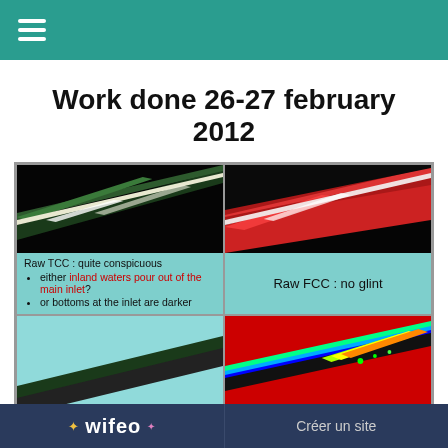☰
Work done 26-27 february 2012
[Figure (photo): Satellite image - Raw TCC showing coastal area with dark water and bright coastal strip]
Raw TCC : quite conspicuous
• either inland waters pour out of the main inlet?
• or bottoms at the inlet are darker
[Figure (photo): Satellite image - Raw FCC showing coastal area with red vegetation]
Raw FCC : no glint
[Figure (photo): Bottom left satellite image - partial view]
[Figure (photo): NIR band at 850nm - false color image with red background and rainbow colored coastal strip]
NIR band at 850 nm
wifeo    Créer un site